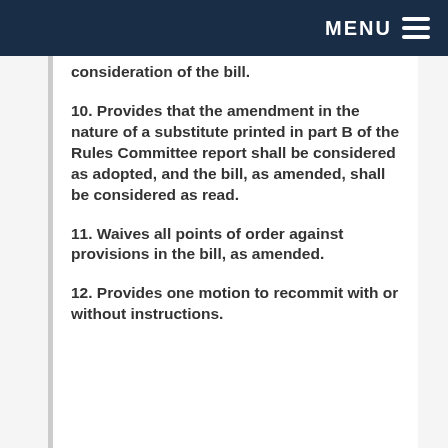MENU
consideration of the bill.
10. Provides that the amendment in the nature of a substitute printed in part B of the Rules Committee report shall be considered as adopted, and the bill, as amended, shall be considered as read.
11. Waives all points of order against provisions in the bill, as amended.
12. Provides one motion to recommit with or without instructions.